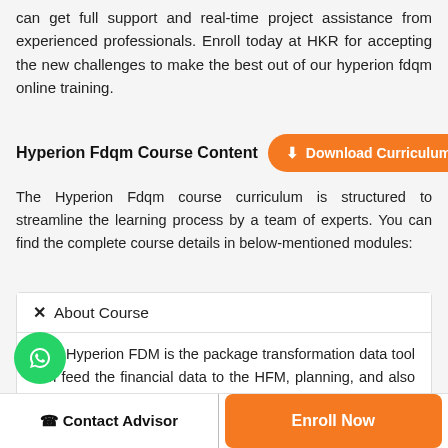can get full support and real-time project assistance from experienced professionals. Enroll today at HKR for accepting the new challenges to make the best out of our hyperion fdqm online training.
Hyperion Fdqm Course Content
Download Curriculum
The Hyperion Fdqm course curriculum is structured to streamline the learning process by a team of experts. You can find the complete course details in below-mentioned modules:
✕ About Course
The Hyperion FDM is the package transformation data tool can feed the financial data to the HFM, planning, and also to the Essbase Hyperion.
☎ Contact Advisor
Enroll Now